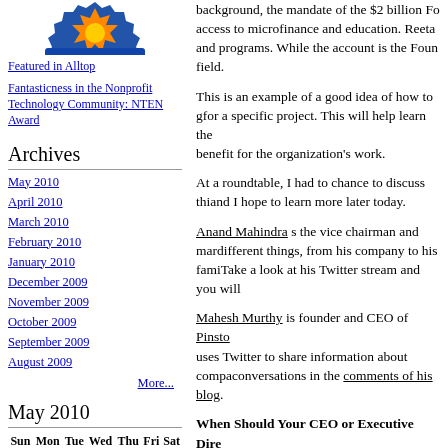[Figure (illustration): Sun/logo illustration with orange and blue rays on a gear-like background]
Featured in Alltop
Fantasticness in the Nonprofit Technology Community: NTEN Award
Archives
May 2010
April 2010
March 2010
February 2010
January 2010
December 2009
November 2009
October 2009
September 2009
August 2009
More...
May 2010
| Sun | Mon | Tue | Wed | Thu | Fri | Sat |
| --- | --- | --- | --- | --- | --- | --- |
|  |  |  |  |  |  | 1 |
| 2 | 3 | 4 | 5 | 6 | 7 | 8 |
| 9 | 10 | 11 | 12 | 13 | 14 | 15 |
| 16 | 17 | 18 | 19 | 20 | 21 | 22 |
background, the mandate of the $2 billion Foundation including access to microfinance and education. Reeta and programs. While the account is the Foundation field.
This is an example of a good idea of how to get Twitter to work for a specific project. This will help learn the benefit for the organization's work.
At a roundtable, I had to chance to discuss this and I hope to learn more later today.
Anand Mahindra s the vice chairman and managing director - different things, from his company to his family. Take a look at his Twitter stream and you will
Mahesh Murthy is founder and CEO of Pinsto uses Twitter to share information about company conversations in the comments of his blog.
When Should Your CEO or Executive Dire
Of course, using social media may not be for everyone. blogging, they should stay away. This isn't to respond to, but if a CEO starts engaging with
It is also important that CEOs and Executive Directors that is of value or use it for relationship building followers or commenters say, then they should